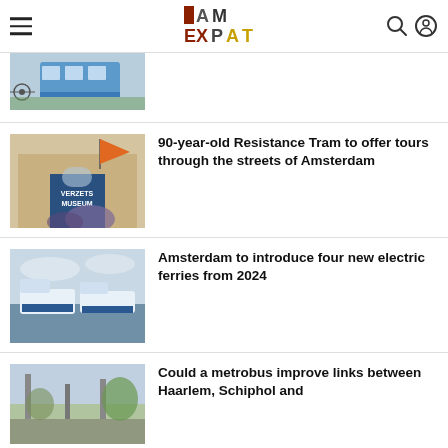I AM EXPAT
[Figure (photo): Partial photo of a blue bus with bicycles at a stop]
[Figure (photo): Verzets Museum building entrance with orange flag and purple flowers]
90-year-old Resistance Tram to offer tours through the streets of Amsterdam
[Figure (photo): Blue and white electric ferry on water under cloudy sky]
Amsterdam to introduce four new electric ferries from 2024
[Figure (photo): Partial photo of urban area, metrobus context]
Could a metrobus improve links between Haarlem, Schiphol and